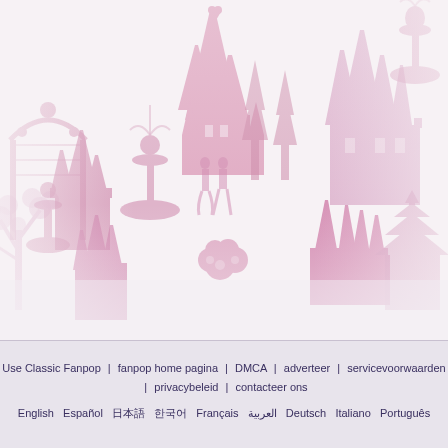[Figure (illustration): Pink Disney-style castle and fantasy landscape silhouette on a light pink/white background, featuring castles, trees, fountains, ornamental gates, and figures.]
Use Classic Fanpop | fanpop home pagina | DMCA | adverteer | servicevoorwaarden | privacybeleid | contacteer ons
English  Español  日本語  한국어  Français  العربية  Deutsch  Italiano  Português